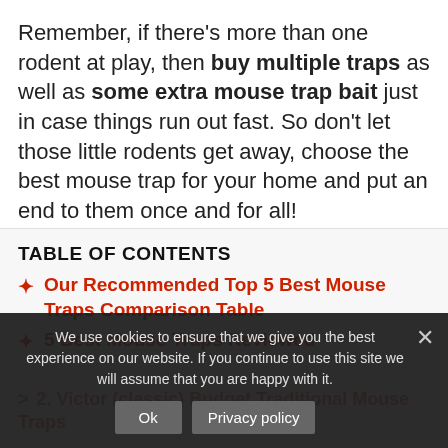Remember, if there's more than one rodent at play, then buy multiple traps as well as some extra mouse trap bait just in case things run out fast. So don't let those little rodents get away, choose the best mouse trap for your home and put an end to them once and for all!
TABLE OF CONTENTS
Our Recommended Top 5 Best Mouse Traps Comparison Table
5 Best Mouse Traps Reviewed
2. Victor (classic) Budget Traditional Mouse Traps
We use cookies to ensure that we give you the best experience on our website. If you continue to use this site we will assume that you are happy with it.